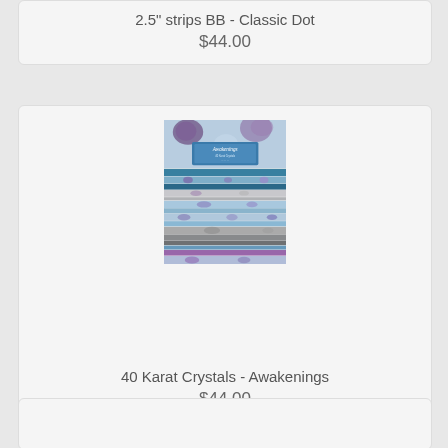2.5" strips BB - Classic Dot
$44.00
[Figure (photo): A stack of fabric strips from the '40 Karat Crystals - Awakenings' collection, featuring floral patterns in blue, purple, grey and white tones, with a label on top.]
40 Karat Crystals - Awakenings
$44.00